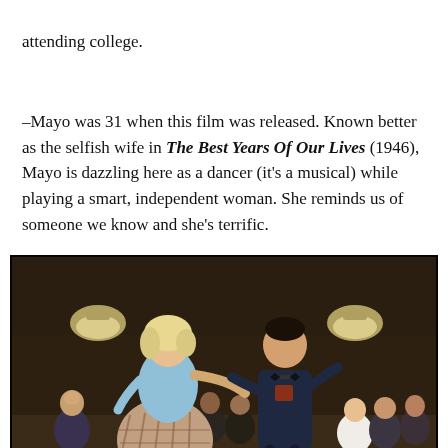attending college.
–Mayo was 31 when this film was released. Known better as the selfish wife in The Best Years Of Our Lives (1946), Mayo is dazzling here as a dancer (it's a musical) while playing a smart, independent woman. She reminds us of someone we know and she's terrific.
[Figure (photo): A color film still showing a man and woman dancing energetically in what appears to be a school or community hall. The woman has blonde hair and wears a light blue top with a plaid skirt. The man wears a dark sweater with a bow tie. Several onlookers watch in the background.]